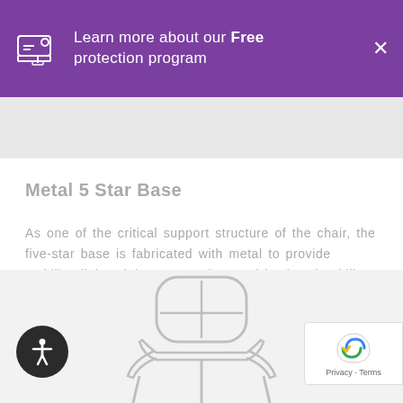Learn more about our Free protection program
[Figure (illustration): Gray product image strip at top of product page]
Metal 5 Star Base
As one of the critical support structure of the chair, the five-star base is fabricated with metal to provide stability, lightweight construction, and lasting durability, providing the necessary strength to ensure longevity.
[Figure (illustration): Line illustration of a chair (back view) in gray tones on light gray background]